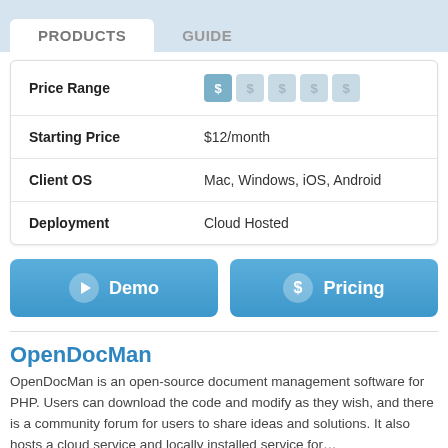PRODUCTS | GUIDE
| Field | Value |
| --- | --- |
| Price Range | $ $ $ $ $ |
| Starting Price | $12/month |
| Client OS | Mac, Windows, iOS, Android |
| Deployment | Cloud Hosted |
Demo
Pricing
OpenDocMan
OpenDocMan is an open-source document management software for PHP. Users can download the code and modify as they wish, and there is a community forum for users to share ideas and solutions. It also hosts a cloud service and locally installed service for…